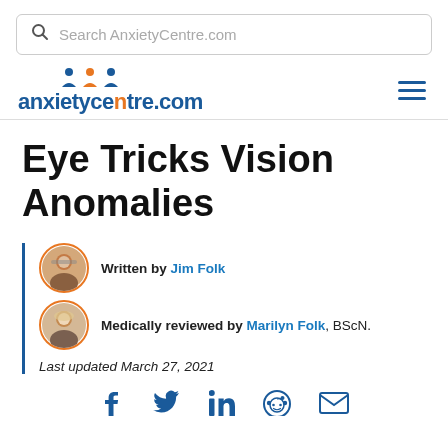Search AnxietyCentre.com
[Figure (logo): anxietycentre.com logo with three figure icons above and hamburger menu icon on right]
Eye Tricks Vision Anomalies
Written by Jim Folk
Medically reviewed by Marilyn Folk, BScN.
Last updated March 27, 2021
[Figure (infographic): Social sharing icons: Facebook, Twitter, LinkedIn, Reddit, Email]